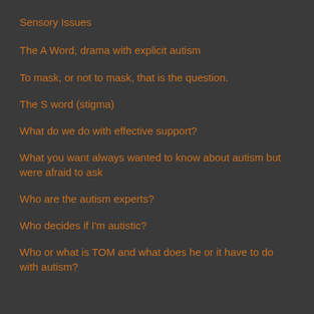Sensory Issues
The A Word, drama with explicit autism
To mask, or not to mask, that is the question.
The S word (stigma)
What do we do with effective support?
What you want always wanted to know about autism but were afraid to ask
Who are the autism experts?
Who decides if I'm autistic?
Who or what is TOM and what does he or it have to do with autism?